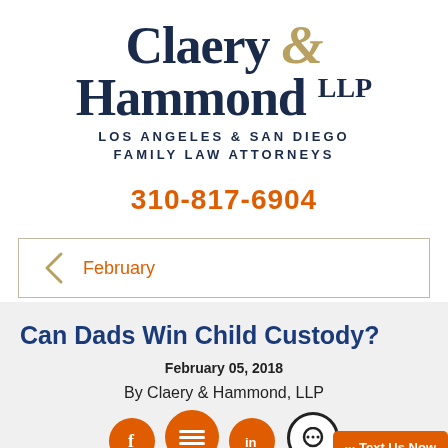[Figure (logo): Claery & Hammond LLP law firm logo with firm name in dark navy serif font, ampersand in gold italic, and tagline 'LOS ANGELES & SAN DIEGO FAMILY LAW ATTORNEYS']
310-817-6904
February
Can Dads Win Child Custody?
February 05, 2018
By Claery & Hammond, LLP
[Figure (infographic): Social media icons (Facebook, chat/message, LinkedIn) in orange circles, plus a chat icon circle and orange 'Text Us Now' button overlay]